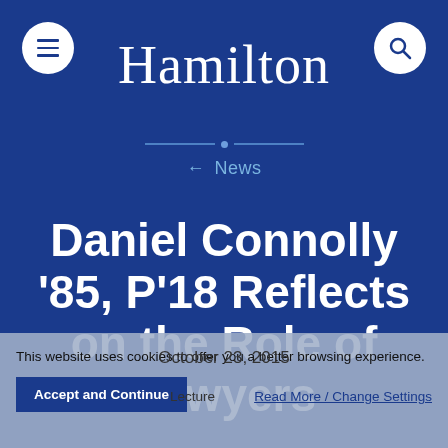Hamilton
← News
Daniel Connolly '85, P'18 Reflects on the Role of Lawyers
By | 3 | October 23, 2015
Lecture
This website uses cookies to offer you a better browsing experience.
Accept and Continue    Read More / Change Settings